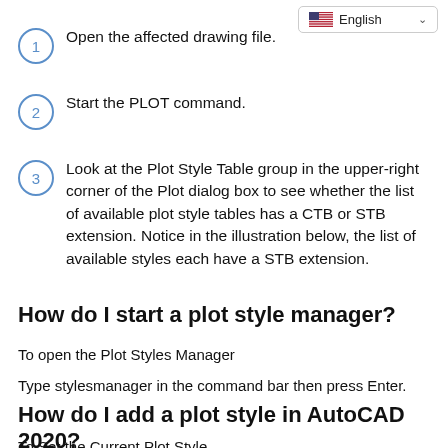1. Open the affected drawing file.
2. Start the PLOT command.
3. Look at the Plot Style Table group in the upper-right corner of the Plot dialog box to see whether the list of available plot style tables has a CTB or STB extension. Notice in the illustration below, the list of available styles each have a STB extension.
How do I start a plot style manager?
To open the Plot Styles Manager
Type stylesmanager in the command bar then press Enter.
How do I add a plot style in AutoCAD 2020?
To Set the Current Plot Style